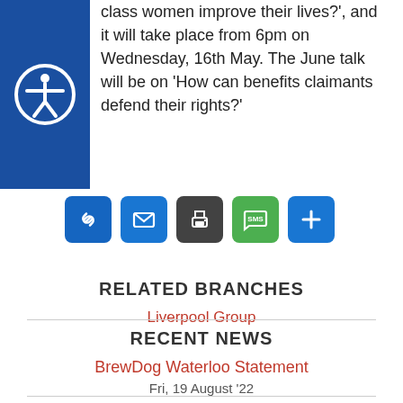class women improve their lives?', and it will take place from 6pm on Wednesday, 16th May. The June talk will be on 'How can benefits claimants defend their rights?'
[Figure (other): Accessibility icon - white person in circle on blue background]
[Figure (infographic): Social sharing buttons: chain link (blue), mail (blue), print (dark grey), SMS (green), more/plus (blue)]
RELATED BRANCHES
Liverpool Group
RECENT NEWS
BrewDog Waterloo Statement
Fri, 19 August '22